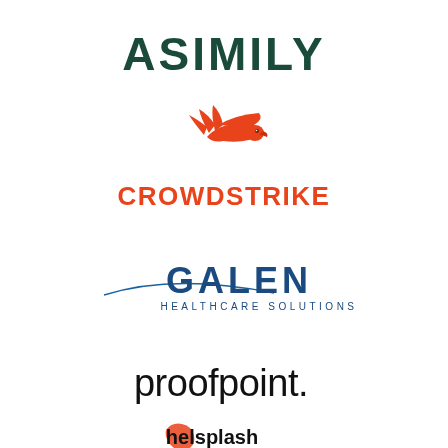[Figure (logo): ASIMILY logo — bold dark teal/green uppercase sans-serif text]
[Figure (logo): CrowdStrike logo — red falcon bird icon above bold red uppercase CROWDSTRIKE text]
[Figure (logo): Galen Healthcare Solutions logo — navy blue GALEN text with arc swoosh and smaller HEALTHCARE SOLUTIONS subtitle]
[Figure (logo): proofpoint logo — lowercase black sans-serif text with registered trademark dot]
[Figure (logo): Partial logo at bottom of page, cut off]